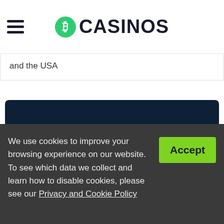CASINOS
and the USA
300% UP TO €3,000
VISIT SITE
We use cookies to improve your browsing experience on our website. To see which data we collect and learn how to disable cookies, please see our Privacy and Cookie Policy
Accept